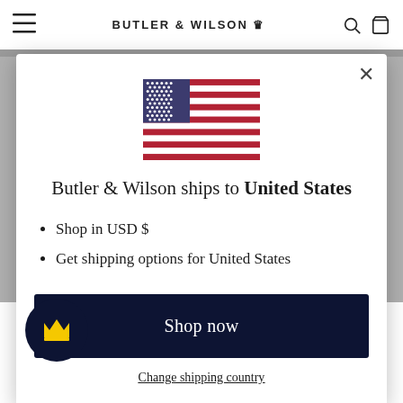BUTLER & WILSON
[Figure (illustration): US flag illustration inside a modal dialog]
Butler & Wilson ships to United States
Shop in USD $
Get shipping options for United States
Shop now
Change shipping country
Bell as Big Ben and the regal London banner draped around the tower, there is an additional gold Butler and Wilson crown hanging from the housing. This housing is available in gold